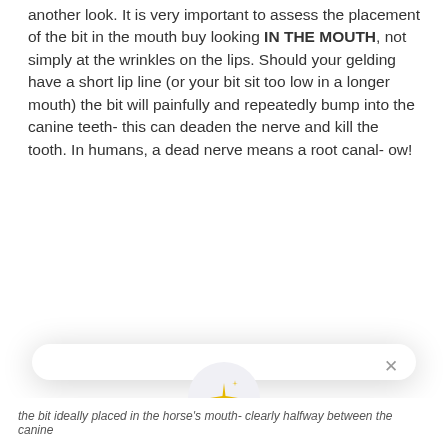another look. It is very important to assess the placement of the bit in the mouth buy looking IN THE MOUTH, not simply at the wrinkles on the lips. Should your gelding have a short lip line (or your bit sit too low in a longer mouth) the bit will painfully and repeatedly bump into the canine teeth- this can deaden the nerve and kill the tooth. In humans, a dead nerve means a root canal- ow!
[Figure (screenshot): A modal dialog overlay with a sparkle/star icon in a grey circle, the heading 'Unlock exclusive rewards and perks', subtext 'Sign up or Log in', a dark blue 'Sign up' button, and a 'Already have an account? Sign in' link. An X close button is in the top right corner.]
the bit ideally placed in the horse's mouth- clearly halfway between the canine